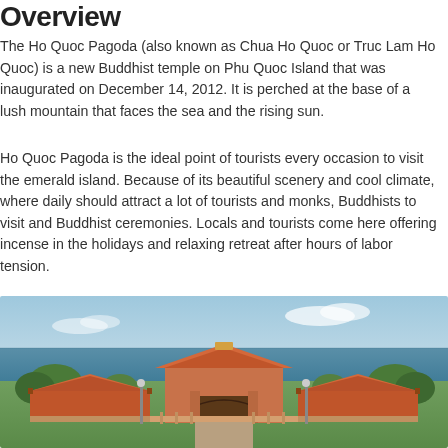Overview
The Ho Quoc Pagoda (also known as Chua Ho Quoc or Truc Lam Ho Quoc) is a new Buddhist temple on Phu Quoc Island that was inaugurated on December 14, 2012. It is perched at the base of a lush mountain that faces the sea and the rising sun.
Ho Quoc Pagoda is the ideal point of tourists every occasion to visit the emerald island. Because of its beautiful scenery and cool climate, where daily should attract a lot of tourists and monks, Buddhists to visit and Buddhist ceremonies. Locals and tourists come here offering incense in the holidays and relaxing retreat after hours of labor tension.
[Figure (photo): Aerial view of Ho Quoc Pagoda with traditional Vietnamese temple architecture, red tiled roofs, entrance gate, surrounded by trees, with the sea and blue sky in the background.]